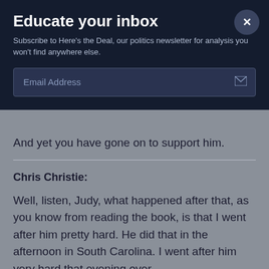Educate your inbox
Subscribe to Here's the Deal, our politics newsletter for analysis you won't find anywhere else.
Email Address
And yet you have gone on to support him.
Chris Christie:
Well, listen, Judy, what happened after that, as you know from reading the book, is that I went after him pretty hard. He did that in the afternoon in South Carolina. I went after him very hard that evening over the...